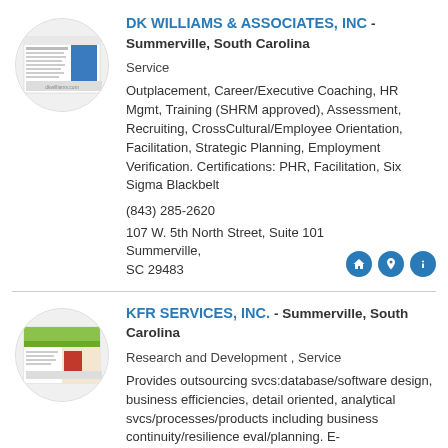[Figure (logo): Circular logo thumbnail for DK Williams & Associates, Inc. showing a blue and white website screenshot]
DK WILLIAMS & ASSOCIATES, INC - Summerville, South Carolina
Service
Outplacement, Career/Executive Coaching, HR Mgmt, Training (SHRM approved), Assessment, Recruiting, CrossCultural/Employee Orientation, Facilitation, Strategic Planning, Employment Verification. Certifications: PHR, Facilitation, Six Sigma Blackbelt
(843) 285-2620
107 W. 5th North Street, Suite 101 Summerville, SC 29483
[Figure (logo): Circular logo thumbnail for KFR Services, Inc. showing a green and red website screenshot]
KFR SERVICES, INC. - Summerville, South Carolina
Research and Development , Service
Provides outsourcing svcs:database/software design, business efficiencies, detail oriented, analytical svcs/processes/products including business continuity/resilience eval/planning. E-